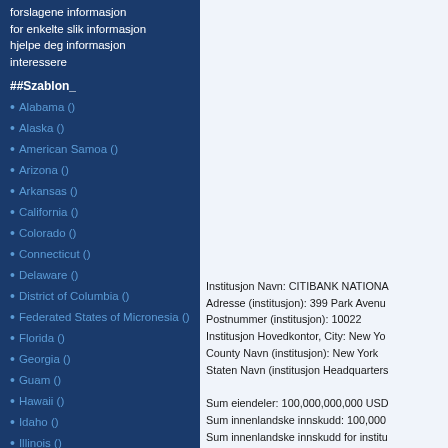forslagene informasjon for enkelte slik informasjon hjelpe deg informasjon interessere
##Szablon_
Alabama ()
Alaska ()
American Samoa ()
Arizona ()
Arkansas ()
California ()
Colorado ()
Connecticut ()
Delaware ()
District of Columbia ()
Federated States of Micronesia ()
Florida ()
Georgia ()
Guam ()
Hawaii ()
Idaho ()
Illinois ()
Indiana ()
Iowa ()
Kansas ()
Kentucky ()
Louisiana ()
Maine ()
Institusjon Navn: CITIBANK NATIONAL
Adresse (institusjon): 399 Park Avenu
Postnummer (institusjon): 10022
Institusjon Hovedkontor, City: New Yo
County Navn (institusjon): New York
Staten Navn (institusjon Headquarters

Sum eiendeler: 100,000,000,000 USD
Sum innenlandske innskudd: 100,000
Sum innenlandske innskudd for institu
Innskudd (Branch) (i tusen dollar): 4
and Thirty-One Thousand $)
Industri Spesialisering Beskrivelse: IN
Las Catalinas Branch (Doral Bank)
carr Pr 53 Int Pr 156
00725 Caguas
Puerto Rico (Caguas)